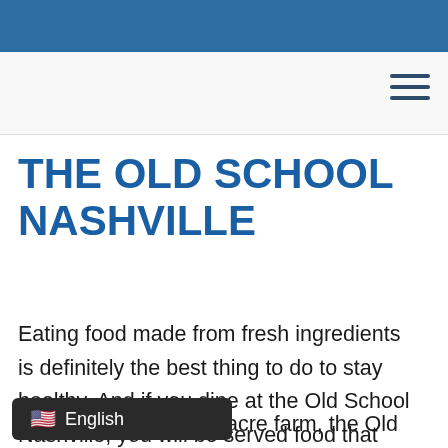THE OLD SCHOOL NASHVILLE
Eating food made from fresh ingredients is definitely the best thing to do to stay healthy. And if you dine at the Old School Nashville, you will be served food that come directly from its farm, situated just near the restaurant.
N... a nine-acre farm, the Old School